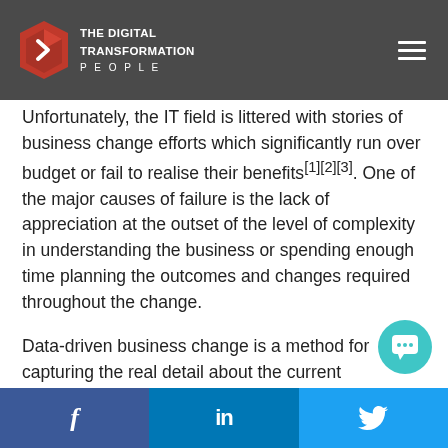THE DIGITAL TRANSFORMATION PEOPLE
Unfortunately, the IT field is littered with stories of business change efforts which significantly run over budget or fail to realise their benefits[1][2][3]. One of the major causes of failure is the lack of appreciation at the outset of the level of complexity in understanding the business or spending enough time planning the outcomes and changes required throughout the change.
Data-driven business change is a method for capturing the real detail about the current organisation, modelling the future (post-change) organisation in detail and developing a comprehensive change plan which is based on detailed understanding of what needs to change and why.
f   in   [twitter bird]